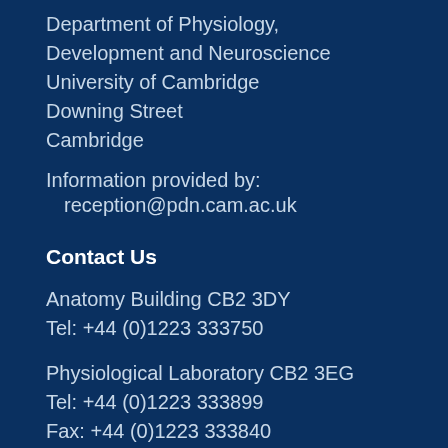Department of Physiology,
Development and Neuroscience
University of Cambridge
Downing Street
Cambridge
Information provided by:
  reception@pdn.cam.ac.uk
Contact Us
Anatomy Building CB2 3DY
Tel: +44 (0)1223 333750
Physiological Laboratory CB2 3EG
Tel: +44 (0)1223 333899
Fax: +44 (0)1223 333840
PDN resources
Transitioning to...